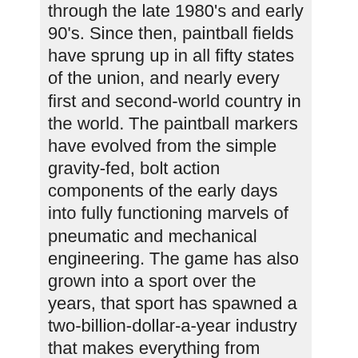through the late 1980's and early 90's. Since then, paintball fields have sprung up in all fifty states of the union, and nearly every first and second-world country in the world. The paintball markers have evolved from the simple gravity-fed, bolt action components of the early days into fully functioning marvels of pneumatic and mechanical engineering. The game has also grown into a sport over the years, that sport has spawned a two-billion-dollar-a-year industry that makes everything from paintballs to pneumatic rams, circuit boards, infrared sensors, and clothing for on and off the field. The game and scenario styles